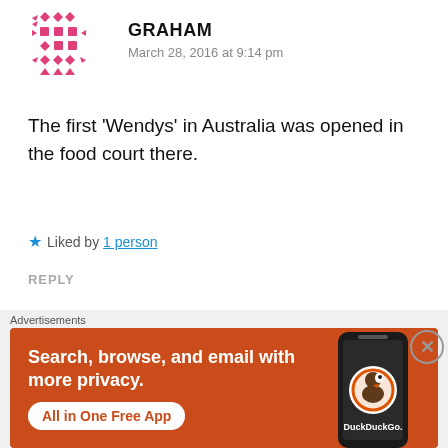[Figure (illustration): Pink decorative avatar icon with diamond and square pattern shapes arranged in a grid]
GRAHAM
March 28, 2016 at 9:14 pm
The first ‘Wendys’ in Australia was opened in the food court there.
★ Liked by 1 person
REPLY
[Figure (illustration): Dark brown decorative avatar icon with abstract stacked shapes]
BRENTON THOMAS
[Figure (screenshot): DuckDuckGo advertisement banner: Search, browse, and email with more privacy. All in One Free App. DuckDuckGo logo on phone mockup.]